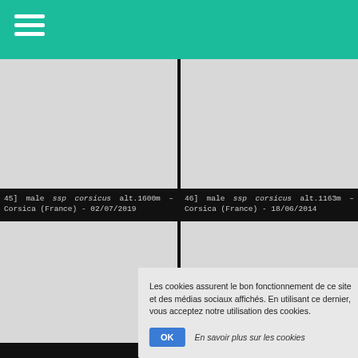[Figure (screenshot): Teal navigation bar with hamburger menu icon (three white horizontal lines) at top left]
[Figure (photo): Gray placeholder image for photo 45 - male ssp corsicus alt.1600m]
45] male ssp corsicus alt.1600m – Corsica (France) - 02/07/2019
[Figure (photo): Gray placeholder image for photo 46 - male ssp corsicus alt.1163m]
46] male ssp corsicus alt.1163m – Corsica (France) - 18/06/2014
[Figure (photo): Gray placeholder image for photo in bottom left]
[Figure (photo): Gray placeholder image for photo in bottom right]
Les cookies assurent le bon fonctionnement de ce site et des médias sociaux affichés. En utilisant ce dernier, vous acceptez notre utilisation des cookies.
OK   En savoir plus sur les cookies